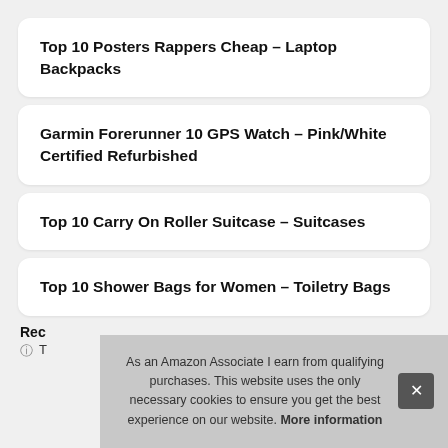Top 10 Posters Rappers Cheap – Laptop Backpacks
Garmin Forerunner 10 GPS Watch – Pink/White Certified Refurbished
Top 10 Carry On Roller Suitcase – Suitcases
Top 10 Shower Bags for Women – Toiletry Bags
Rec
T
As an Amazon Associate I earn from qualifying purchases. This website uses the only necessary cookies to ensure you get the best experience on our website. More information